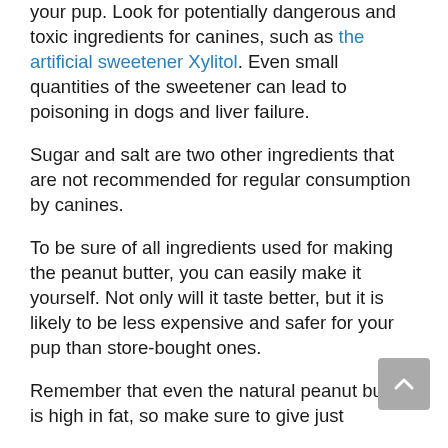your pup. Look for potentially dangerous and toxic ingredients for canines, such as the artificial sweetener Xylitol. Even small quantities of the sweetener can lead to poisoning in dogs and liver failure.
Sugar and salt are two other ingredients that are not recommended for regular consumption by canines.
To be sure of all ingredients used for making the peanut butter, you can easily make it yourself. Not only will it taste better, but it is likely to be less expensive and safer for your pup than store-bought ones.
Remember that even the natural peanut butter is high in fat, so make sure to give just